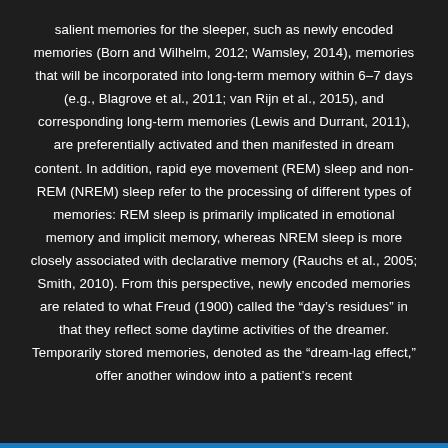salient memories for the sleeper, such as newly encoded memories (Born and Wilhelm, 2012; Wamsley, 2014), memories that will be incorporated into long-term memory within 6–7 days (e.g., Blagrove et al., 2011; van Rijn et al., 2015), and corresponding long-term memories (Lewis and Durrant, 2011), are preferentially activated and then manifested in dream content. In addition, rapid eye movement (REM) sleep and non-REM (NREM) sleep refer to the processing of different types of memories: REM sleep is primarily implicated in emotional memory and implicit memory, whereas NREM sleep is more closely associated with declarative memory (Rauchs et al., 2005; Smith, 2010). From this perspective, newly encoded memories are related to what Freud (1900) called the "day's residues" in that they reflect some daytime activities of the dreamer. Temporarily stored memories, denoted as the "dream-lag effect," offer another window into a patient's recent